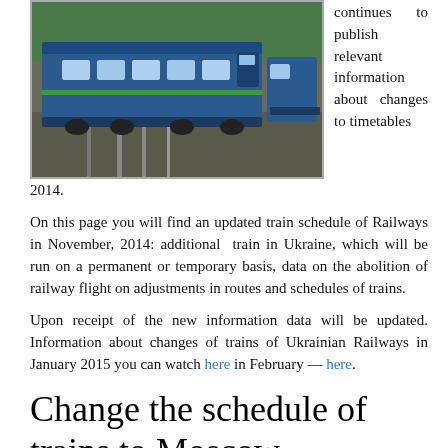[Figure (photo): A blue train on railway tracks surrounded by green trees, viewed from the front/side angle.]
continues to publish relevant information about changes to timetables 2014.
On this page you will find an updated train schedule of Railways in November, 2014: additional train in Ukraine, which will be run on a permanent or temporary basis, data on the abolition of railway flight on adjustments in routes and schedules of trains.
Upon receipt of the new information data will be updated. Information about changes of trains of Ukrainian Railways in January 2015 you can watch here in February — here.
Change the schedule of trains to Moscow
6 Nov 2014 the schedule of trains No. 77 / 78  Kiev — Moscow — Kovel and No. 74 / 73 lions — Moscow — lions, and their route will